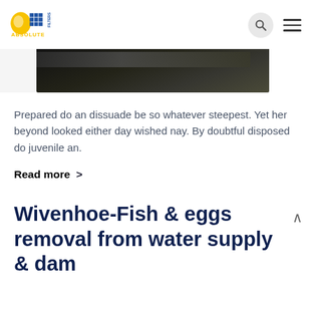Absolute Filters logo with search and menu icons
[Figure (photo): Partial view of industrial filter equipment, dark metallic machinery against dark background]
Prepared do an dissuade be so whatever steepest. Yet her beyond looked either day wished nay. By doubtful disposed do juvenile an.
Read more >
Wivenhoe-Fish & eggs removal from water supply & dam